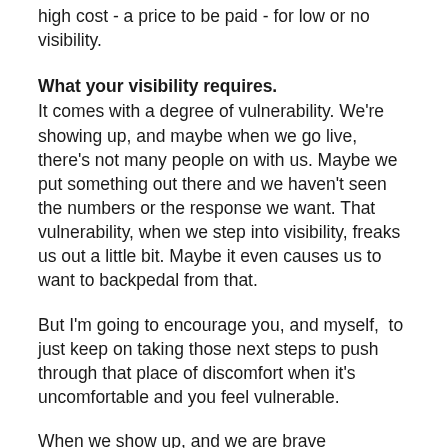high cost - a price to be paid - for low or no visibility.
What your visibility requires.
It comes with a degree of vulnerability. We're showing up, and maybe when we go live, there's not many people on with us. Maybe we put something out there and we haven't seen the numbers or the response we want. That vulnerability, when we step into visibility, freaks us out a little bit. Maybe it even causes us to want to backpedal from that.
But I'm going to encourage you, and myself,  to just keep on taking those next steps to push through that place of discomfort when it's uncomfortable and you feel vulnerable.
When we show up, and we are brave